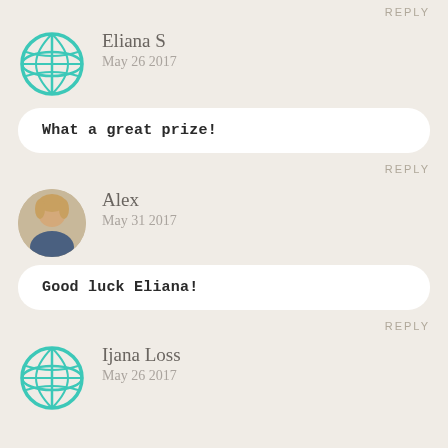REPLY
[Figure (illustration): Globe icon in teal/turquoise color]
Eliana S
May 26 2017
What a great prize!
REPLY
[Figure (photo): Circular profile photo of a blonde woman]
Alex
May 31 2017
Good luck Eliana!
REPLY
[Figure (illustration): Globe icon in teal/turquoise color]
Ijana Loss
May 26 2017